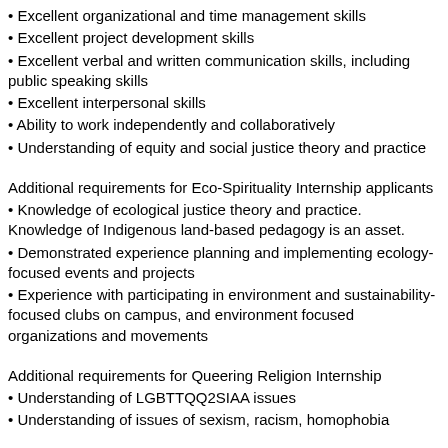• Excellent organizational and time management skills
• Excellent project development skills
• Excellent verbal and written communication skills, including public speaking skills
• Excellent interpersonal skills
• Ability to work independently and collaboratively
• Understanding of equity and social justice theory and practice
Additional requirements for Eco-Spirituality Internship applicants
• Knowledge of ecological justice theory and practice. Knowledge of Indigenous land-based pedagogy is an asset.
• Demonstrated experience planning and implementing ecology-focused events and projects
• Experience with participating in environment and sustainability-focused clubs on campus, and environment focused organizations and movements
Additional requirements for Queering Religion Internship
• Understanding of LGBTTQQ2SIAA issues
• Understanding of issues of sexism, racism, homophobia